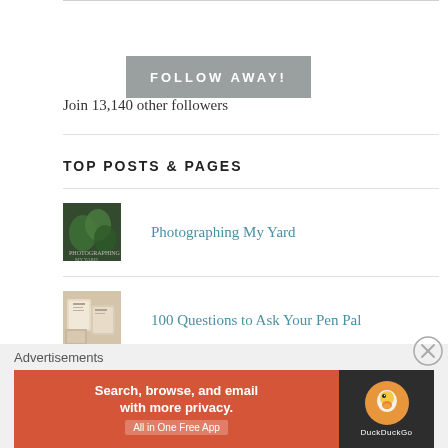[Figure (other): Gray button with text FOLLOW AWAY!]
Join 13,140 other followers
TOP POSTS & PAGES
[Figure (photo): Thumbnail image of green leaves for Photographing My Yard post]
Photographing My Yard
[Figure (photo): Thumbnail image for 100 Questions to Ask Your Pen Pal post]
100 Questions to Ask Your Pen Pal
Advertisements
[Figure (screenshot): DuckDuckGo advertisement banner: Search, browse, and email with more privacy. All in One Free App]